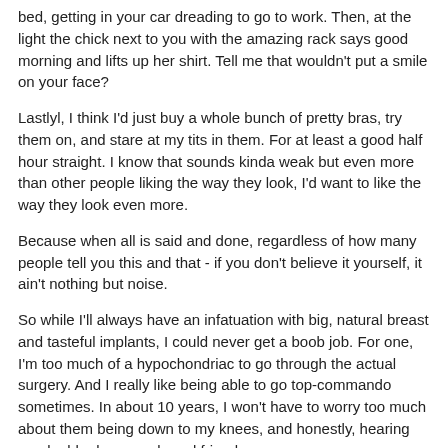bed, getting in your car dreading to go to work. Then, at the light the chick next to you with the amazing rack says good morning and lifts up her shirt. Tell me that wouldn't put a smile on your face?
Lastlyl, I think I'd just buy a whole bunch of pretty bras, try them on, and stare at my tits in them. For at least a good half hour straight. I know that sounds kinda weak but even more than other people liking the way they look, I'd want to like the way they look even more.
Because when all is said and done, regardless of how many people tell you this and that - if you don't believe it yourself, it ain't nothing but noise.
So while I'll always have an infatuation with big, natural breast and tasteful implants, I could never get a boob job. For one, I'm too much of a hypochondriac to go through the actual surgery. And I really like being able to go top-commando sometimes. In about 10 years, I won't have to worry too much about them being down to my knees, and honestly, hearing my double deezy endowed friends